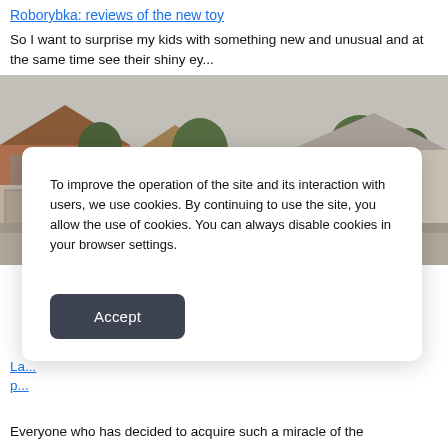Roborybka: reviews of the new toy
So I want to surprise my kids with something new and unusual and at the same time see their shiny ey...
[Figure (photo): A man looking down standing in a residential suburban driveway with brick houses and trees in the background.]
To improve the operation of the site and its interaction with users, we use cookies. By continuing to use the site, you allow the use of cookies. You can always disable cookies in your browser settings.
Accept
La... p...
Everyone who has decided to acquire such a miracle of the